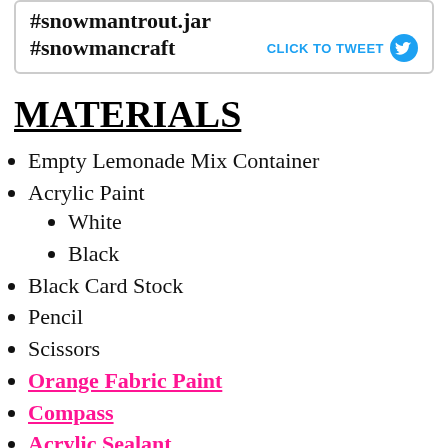#snowmantrout.jar #snowmancraft CLICK TO TWEET
MATERIALS
Empty Lemonade Mix Container
Acrylic Paint
White
Black
Black Card Stock
Pencil
Scissors
Orange Fabric Paint
Compass
Acrylic Sealant